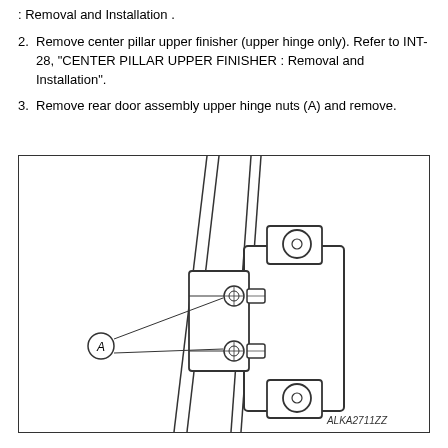: Removal and Installation .
2. Remove center pillar upper finisher (upper hinge only). Refer to INT-28, "CENTER PILLAR UPPER FINISHER : Removal and Installation".
3. Remove rear door assembly upper hinge nuts (A) and remove.
[Figure (engineering-diagram): Technical diagram showing rear door upper hinge assembly with two nuts labeled A, pointing callout lines indicating the hinge nuts on the hinge bracket mounted to the door pillar. Label ALKA2711ZZ at bottom right.]